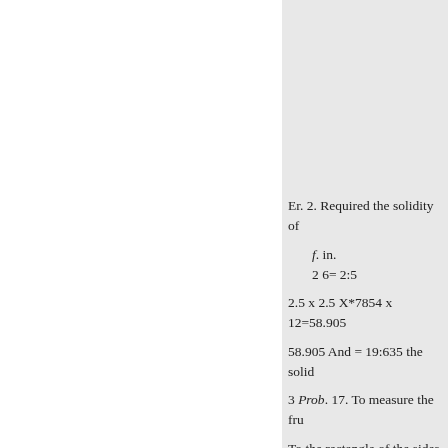Er. 2. Required the solidity of
f. in.
2 6= 2:5
58.905 And = 19:635 the solid
3 Prob. 17. To measure the fru
To the rectangle of the sides o the height, one-third of the produ
Er. In the frustrum of a square end or top 2f. 3in.; and the perpe